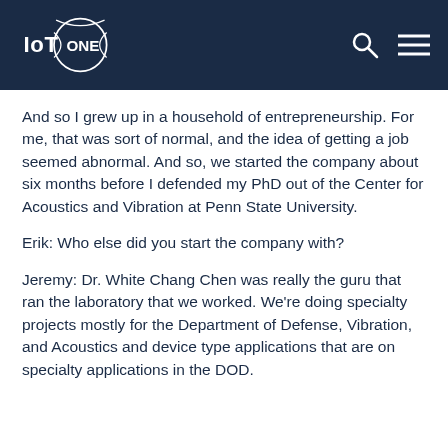IoT ONE
And so I grew up in a household of entrepreneurship. For me, that was sort of normal, and the idea of getting a job seemed abnormal. And so, we started the company about six months before I defended my PhD out of the Center for Acoustics and Vibration at Penn State University.
Erik: Who else did you start the company with?
Jeremy: Dr. White Chang Chen was really the guru that ran the laboratory that we worked. We're doing specialty projects mostly for the Department of Defense, Vibration, and Acoustics and device type applications that are on specialty applications in the DOD.